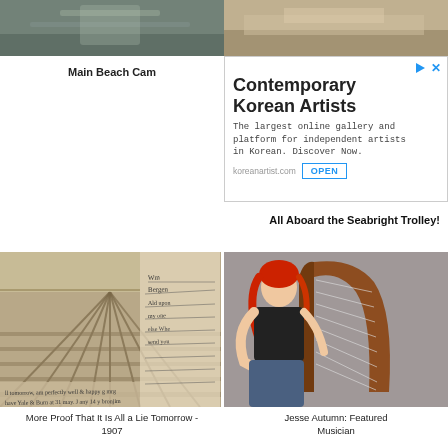[Figure (photo): Two top images side by side: left shows a beach/outdoor scene, right shows a sandy/desert scene]
Main Beach Cam
[Figure (infographic): Advertisement for Contemporary Korean Artists - koreanartist.com]
All Aboard the Seabright Trolley!
[Figure (photo): Old sepia postcard showing crop rows in a field with handwritten letter overlay]
[Figure (photo): Woman with red hair playing a harp against a grey background]
More Proof That It Is All a Lie Tomorrow - 1907
Jesse Autumn: Featured Musician